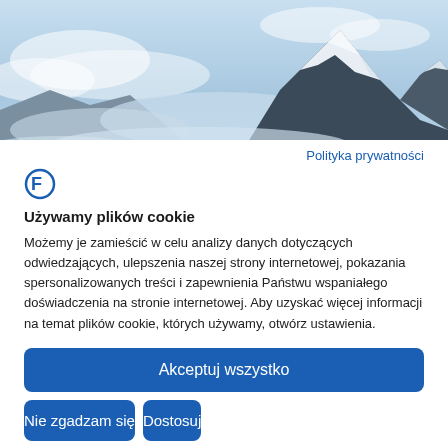[Figure (photo): Snow-capped mountain peak with blue sky and clouds, banner image at top of cookie consent dialog]
Polityka prywatności
[Figure (logo): Blue stylized letter F logo icon]
Używamy plików cookie
Możemy je zamieścić w celu analizy danych dotyczących odwiedzających, ulepszenia naszej strony internetowej, pokazania spersonalizowanych treści i zapewnienia Państwu wspaniałego doświadczenia na stronie internetowej. Aby uzyskać więcej informacji na temat plików cookie, których używamy, otwórz ustawienia.
Akceptuj wszystko
Nie zgadzam się
Dostosuj